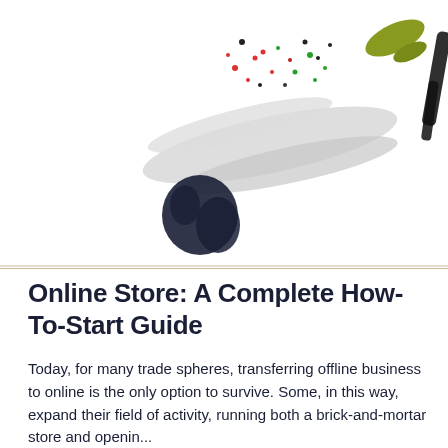[Figure (illustration): Abstract decorative illustration with sketchy brush strokes — gray swooping shapes, scattered colorful confetti-like dots in red, green, black, a dark navy scribble mass, olive/yellow-green shape at top right, and a dark brushstroke line at far right, on a white background.]
Online Store: A Complete How-To-Start Guide
Today, for many trade spheres, transferring offline business to online is the only option to survive. Some, in this way, expand their field of activity, running both a brick-and-mortar store and openin...